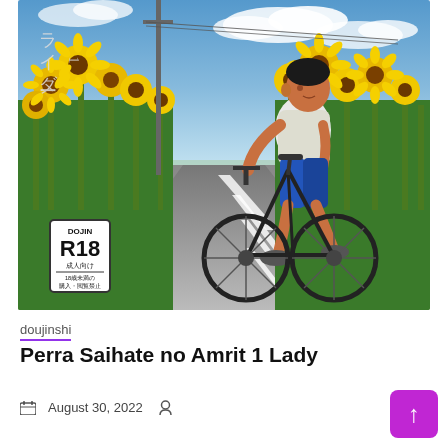[Figure (illustration): Manga/anime style illustration showing a young person riding a bicycle on a road lined with sunflowers on both sides. The scene is set during summer with blue sky and clouds. In the lower left corner there is a DOJIN R18 rating badge with Japanese text.]
doujinshi
Perra Saihate no Amrit 1 Lady
August 30, 2022